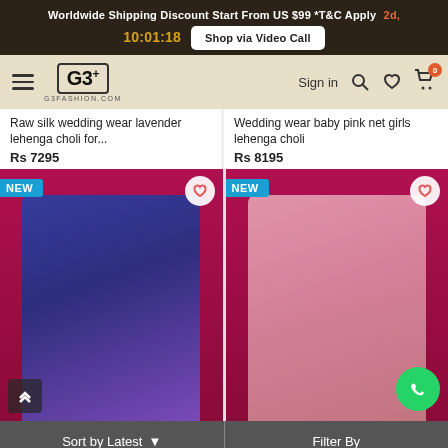Worldwide Shipping Discount Start From US $99 *T&C Apply  2d, 10:01:18  Shop via Video Call
G3+ G3FASHION.COM  Sign in  0
Raw silk wedding wear lavender lehenga choli for...
Rs 7295
Wedding wear baby pink net girls lehenga choli
Rs 8195
[Figure (photo): NEW badge product photo - girl in blue embroidered lehenga choli on red background]
[Figure (photo): NEW badge product photo - girl in pink net lehenga choli on red background with WhatsApp button]
Sort by Latest ▾    Filter By